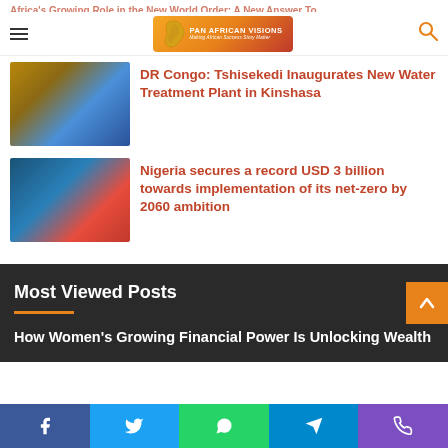Pan African Visions — Making Africa Success Story Matter
[Figure (photo): DR Congo news article thumbnail showing group of people in colorful attire]
DR Congo: Tshisekedi Inaugurates New Water Treatment Plant in Kinshasa
[Figure (photo): Nigeria news article thumbnail showing official at podium with Nigerian government seal]
Nigeria secures a record USD 3 billion towards implementation of its net-zero by 2060 ambition
Most Viewed Posts
How Women's Growing Financial Power Is Unlocking Wealth